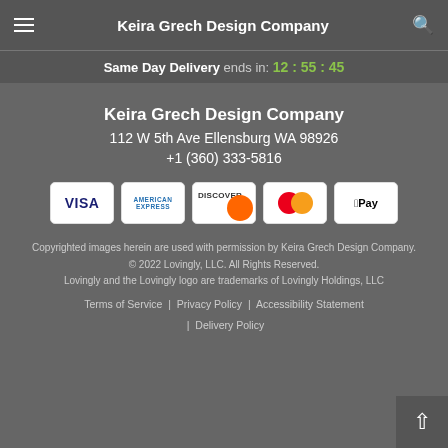Keira Grech Design Company
Same Day Delivery ends in: 12:55:45
Keira Grech Design Company
112 W 5th Ave Ellensburg WA 98926
+1 (360) 333-5816
[Figure (other): Payment method icons: Visa, American Express, Discover, Mastercard, Apple Pay]
Copyrighted images herein are used with permission by Keira Grech Design Company.
© 2022 Lovingly, LLC. All Rights Reserved.
Lovingly and the Lovingly logo are trademarks of Lovingly Holdings, LLC
Terms of Service | Privacy Policy | Accessibility Statement | Delivery Policy